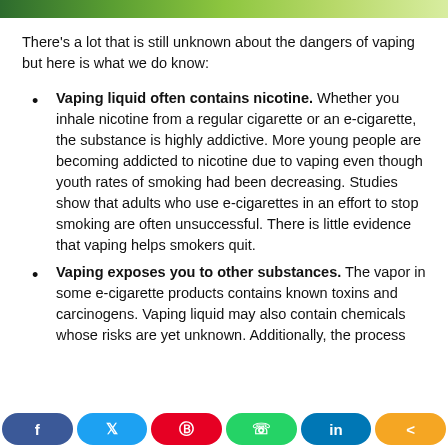There's a lot that is still unknown about the dangers of vaping but here is what we do know:
Vaping liquid often contains nicotine. Whether you inhale nicotine from a regular cigarette or an e-cigarette, the substance is highly addictive. More young people are becoming addicted to nicotine due to vaping even though youth rates of smoking had been decreasing. Studies show that adults who use e-cigarettes in an effort to stop smoking are often unsuccessful. There is little evidence that vaping helps smokers quit.
Vaping exposes you to other substances. The vapor in some e-cigarette products contains known toxins and carcinogens. Vaping liquid may also contain chemicals whose risks are yet unknown. Additionally, the process